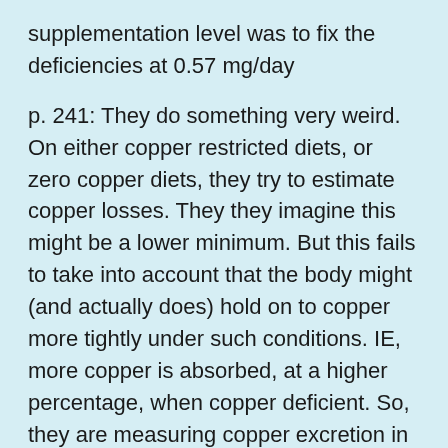supplementation level was to fix the deficiencies at 0.57 mg/day
p. 241: They do something very weird. On either copper restricted diets, or zero copper diets, they try to estimate copper losses. They they imagine this might be a lower minimum. But this fails to take into account that the body might (and actually does) hold on to copper more tightly under such conditions. IE, more copper is absorbed, at a higher percentage, when copper deficient. So, they are measuring copper excretion in copper deficient people.